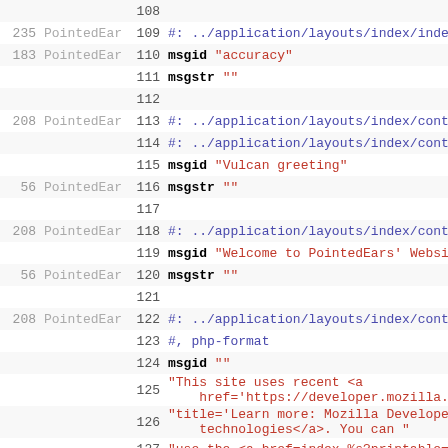Code diff view showing lines 108-127 of a .po localization file with line numbers, authors (PointedEar), and syntax-highlighted content including msgid/msgstr entries and comments.